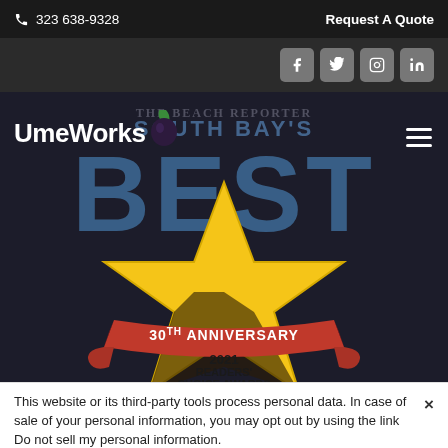323 638-9328   Request A Quote
[Figure (logo): UmeWorks logo with plum icon, on dark hero background with South Bay's Best award graphic and 30th Anniversary 2021 Readers' Choice Awards badge]
This website or its third-party tools process personal data. In case of sale of your personal information, you may opt out by using the link Do not sell my personal information.